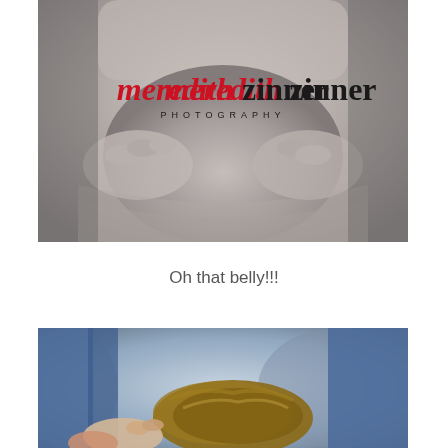[Figure (photo): Close-up black and white photograph of a baby belly with a watermark logo reading 'meredith zinner PHOTOGRAPHY' overlaid in red and black text]
Oh that belly!!!
[Figure (photo): Partial color photograph showing a child with brown hair and blue clothing, with hands visible in the foreground]